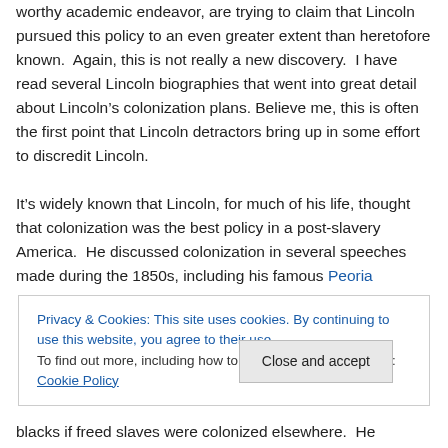worthy academic endeavor, are trying to claim that Lincoln pursued this policy to an even greater extent than heretofore known. Again, this is not really a new discovery. I have read several Lincoln biographies that went into great detail about Lincoln’s colonization plans. Believe me, this is often the first point that Lincoln detractors bring up in some effort to discredit Lincoln.
It’s widely known that Lincoln, for much of his life, thought that colonization was the best policy in a post-slavery America. He discussed colonization in several speeches made during the 1850s, including his famous Peoria
Privacy & Cookies: This site uses cookies. By continuing to use this website, you agree to their use. To find out more, including how to control cookies, see here: Cookie Policy
Close and accept
blacks if freed slaves were colonized elsewhere. He